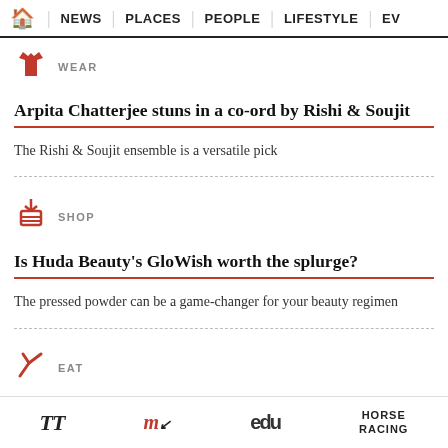HOME | NEWS | PLACES | PEOPLE | LIFESTYLE | EV
WEAR
Arpita Chatterjee stuns in a co-ord by Rishi & Soujit
The Rishi & Soujit ensemble is a versatile pick
SHOP
Is Huda Beauty's GloWish worth the splurge?
The pressed powder can be a game-changer for your beauty regimen
EAT
Marbella's menu offers a shrimp cocktail on toast
This can switch up your brunch order!
TT | mk | edu | HORSE RACING